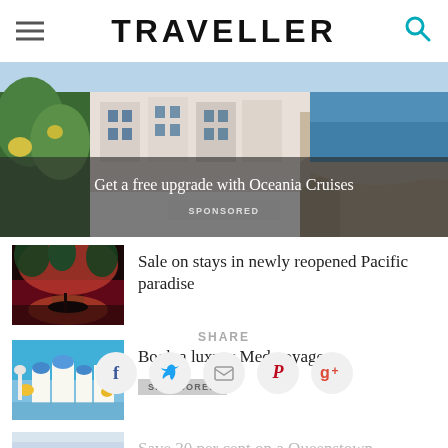TRAVELLER
[Figure (photo): Hero banner showing coastal Mediterranean town with stone bridge and blue water, overlaid with dark semi-transparent bar]
Get a free upgrade with Oceania Cruises
SPONSORED
[Figure (photo): Thumbnail photo of tropical harbor at sunset with palm trees and boats]
Sale on stays in newly reopened Pacific paradise
[Figure (photo): Thumbnail photo of whitewashed Mediterranean buildings with blue accents]
Book a luxury Med voyage
SPONSORED
[Figure (photo): Partial thumbnail of Queenstown article image]
Save 30 per cent on a Queenstown
SHARE